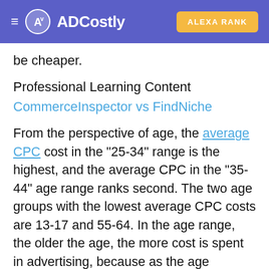ADCostly | ALEXA RANK
be cheaper.
Professional Learning Content
CommerceInspector vs FindNiche
From the perspective of age, the average CPC cost in the "25-34" range is the highest, and the average CPC in the "35-44" age range ranks second. The two age groups with the lowest average CPC costs are 13-17 and 55-64. In the age range, the older the age, the more cost is spent in advertising, because as the age increases, the number of people using the